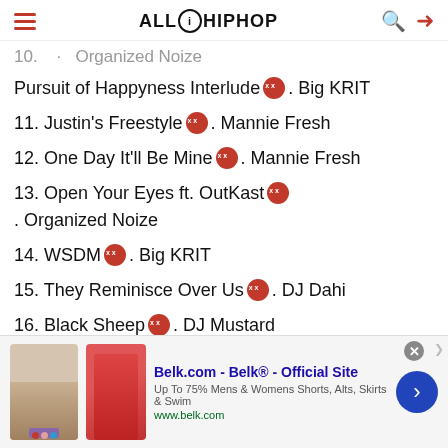ALLHIPHOP
10. [something] [Organized Noize] (partially visible)
Pursuit of Happyness Interlude . Big KRIT
11. Justin's Freestyle . Mannie Fresh
12. One Day It'll Be Mine . Mannie Fresh
13. Open Your Eyes ft. OutKast . Organized Noize
14. WSDM . Big KRIT
15. They Reminisce Over Us . DJ Dahi
16. Black Sheep . DJ Mustard
17. SoFarToGo . MikeWillMadeIt
18. Happyness Is Everything ft. Janelle Monae & Robert
[Figure (other): Advertisement banner for Belk.com with clothing images, text 'Belk.com - Belk® - Official Site', 'Up To 75% Mens & Womens Shorts, Alts, Skirts & Swim', 'www.belk.com']